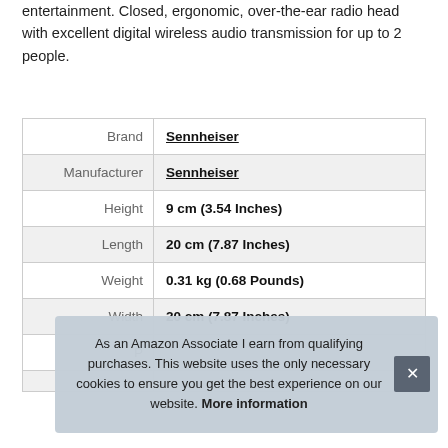entertainment. Closed, ergonomic, over-the-ear radio head with excellent digital wireless audio transmission for up to 2 people.
|  |  |
| --- | --- |
| Brand | Sennheiser |
| Manufacturer | Sennheiser |
| Height | 9 cm (3.54 Inches) |
| Length | 20 cm (7.87 Inches) |
| Weight | 0.31 kg (0.68 Pounds) |
| Width | 20 cm (7.87 Inches) |
| P |  |
As an Amazon Associate I earn from qualifying purchases. This website uses the only necessary cookies to ensure you get the best experience on our website. More information